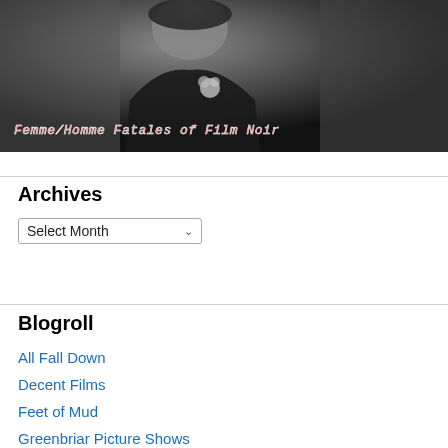[Figure (photo): Black and white photo of a woman holding a flower, with text overlay reading 'Femme/Homme Fatales of Film Noir' in pink/coral stylized font]
Archives
Select Month
Blogroll
All Fall Down
Decent Films
Feet of Mud
Greenbriar Picture Shows
Movies Silently